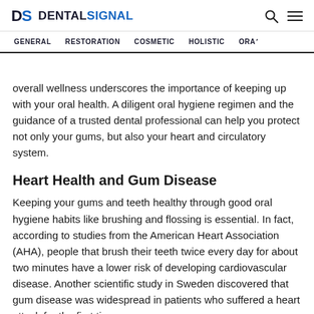DS DENTALSIGNAL — GENERAL | RESTORATION | COSMETIC | HOLISTIC | ORAL
overall wellness underscores the importance of keeping up with your oral health. A diligent oral hygiene regimen and the guidance of a trusted dental professional can help you protect not only your gums, but also your heart and circulatory system.
Heart Health and Gum Disease
Keeping your gums and teeth healthy through good oral hygiene habits like brushing and flossing is essential. In fact, according to studies from the American Heart Association (AHA), people that brush their teeth twice every day for about two minutes have a lower risk of developing cardiovascular disease. Another scientific study in Sweden discovered that gum disease was widespread in patients who suffered a heart attack for the first time.